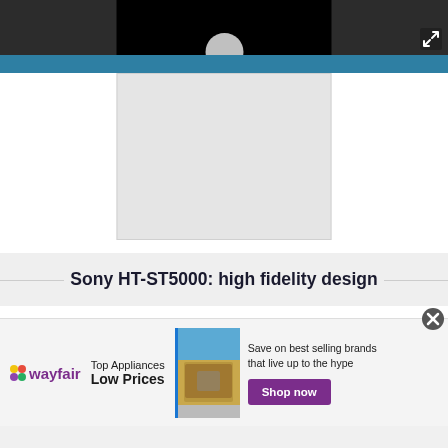[Figure (screenshot): Dark top bar with embedded video thumbnail showing circular play button. An expand/fullscreen icon is visible in the top right corner.]
[Figure (photo): Light grey square image area (product image placeholder) for Sony HT-ST5000 soundbar on a white/grey background.]
Sony HT-ST5000: high fidelity design
[Figure (illustration): Wayfair advertisement banner showing Wayfair logo, text 'Top Appliances Low Prices', an image of a kitchen range/stove, and a 'Shop now' button with tagline 'Save on best selling brands that live up to the hype'.]